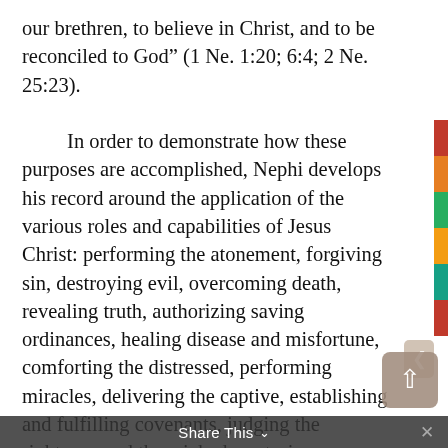our brethren, to believe in Christ, and to be reconciled to God” (1 Ne. 1:20; 6:4; 2 Ne. 25:23).

    In order to demonstrate how these purposes are accomplished, Nephi develops his record around the application of the various roles and capabilities of Jesus Christ: performing the atonement, forgiving sin, destroying evil, overcoming death, revealing truth, authorizing saving ordinances, healing disease and misfortune, comforting the distressed, performing miracles, delivering the captive, establishing and fulfilling covenants, judging the righteous and the wicked, nurturing personal virtues, and administering the blessings of eternal life. For the most part, the two generic names God and Lord collectively refer to this set of divine roles. In certain instances, however, Nephi employs particular names to emphasize specific roles for Christ. The following paragraphs summarize three